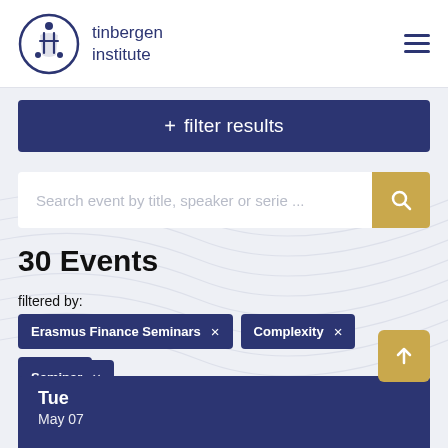[Figure (logo): Tinbergen Institute logo: circular icon with stylized figures and text 'tinbergen institute']
+ filter results
Search event by title, speaker or serie ...
30 Events
filtered by:
Erasmus Finance Seminars ×
Complexity ×
2013 ×
Seminar ×
Tue